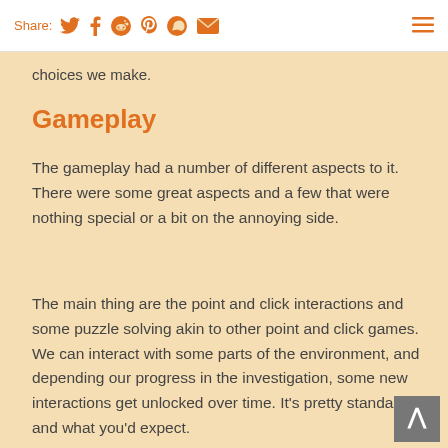Share: [twitter] [facebook] [reddit] [pinterest] [whatsapp] [email]
choices we make.
Gameplay
The gameplay had a number of different aspects to it. There were some great aspects and a few that were nothing special or a bit on the annoying side.
The main thing are the point and click interactions and some puzzle solving akin to other point and click games. We can interact with some parts of the environment, and depending our progress in the investigation, some new interactions get unlocked over time. It's pretty standard and what you'd expect.